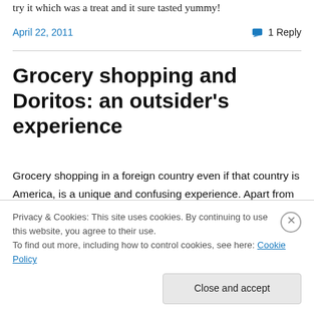try it which was a treat and it sure tasted yummy!
April 22, 2011   1 Reply
Grocery shopping and Doritos: an outsider's experience
Grocery shopping in a foreign country even if that country is America, is a unique and confusing experience. Apart from the obvious problems with locating familiar brands at a grocery store, there's also that feeling you get when you
Privacy & Cookies: This site uses cookies. By continuing to use this website, you agree to their use.
To find out more, including how to control cookies, see here: Cookie Policy
Close and accept